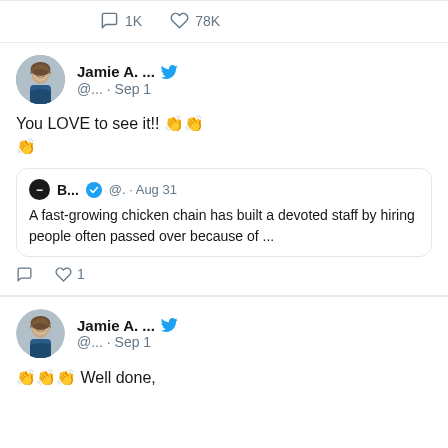[Figure (screenshot): Twitter/social media screenshot showing engagement stats: comment icon with 1K, heart icon with 78K]
[Figure (screenshot): Tweet from Jamie A. with Twitter bird icon, handle @... Sep 1, text: You LOVE to see it!! 👏👏👏 with a quoted tweet from B... (verified) @. Aug 31: A fast-growing chicken chain has built a devoted staff by hiring people often passed over because of ...]
[Figure (screenshot): Tweet from Jamie A. (partial), handle @... Sep 1, text starts: 👏👏👏 Well done,]